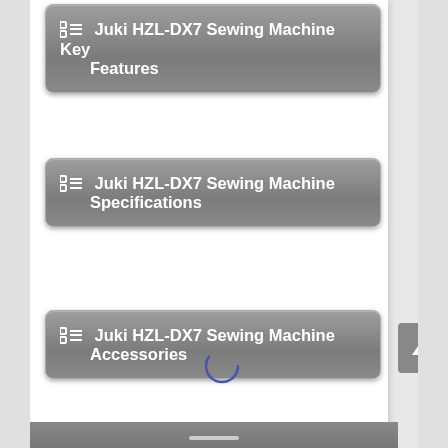Juki HZL-DX7 Sewing Machine Key Features
Juki HZL-DX7 Sewing Machine Specifications
Juki HZL-DX7 Sewing Machine Accessories
Juki HZL-DX7 Sewing Machine Video